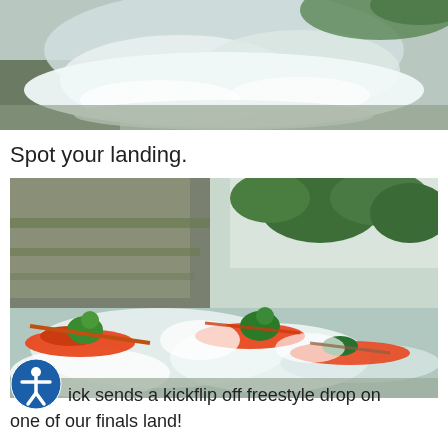[Figure (photo): Aerial or close-up view of white water rapids with mist and water spray, green foliage visible at top edge.]
Spot your landing.
[Figure (photo): Three kayakers in orange kayaks and green gear navigating white water rapids through a narrow rocky canyon with lush green trees overhead.]
ick sends a kickflip off freestyle drop on one of our finals land!